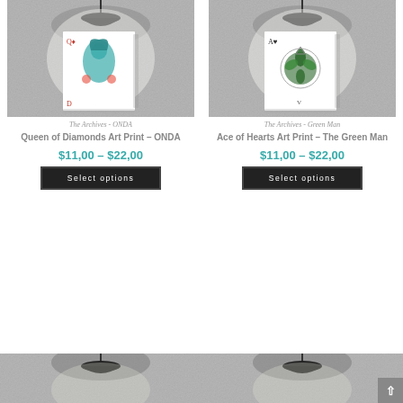[Figure (photo): Art print of Queen of Diamonds playing card featuring a teal-haired queen figure, hung on wall under black pendant lamp]
[Figure (photo): Art print of Ace of Hearts playing card featuring green foliage design, hung on wall under black pendant lamp]
The Archives - ONDA
The Archives - Green Man
Queen of Diamonds Art Print – ONDA
Ace of Hearts Art Print – The Green Man
$11,00 – $22,00
$11,00 – $22,00
Select options
Select options
[Figure (photo): Bottom partial view of another art print product with black pendant lamp, left column]
[Figure (photo): Bottom partial view of another art print product with black pendant lamp, right column]